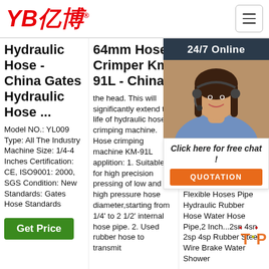[Figure (logo): YB亿博 company logo in red italic text with registered trademark symbol]
[Figure (infographic): Hamburger menu button icon (three horizontal lines) in a rounded rectangle border]
Hydraulic Hose - China Gates Hydraulic Hose ...
Model NO.: YL009 Type: All The Industry Machine Size: 1/4-4 Inches Certification: CE, ISO9001: 2000, SGS Condition: New Standards: Gates Hose Standards
[Figure (other): Green Get Price button]
64mm Hose Crimper Km-91L - China
the head. This will significantly extend the life of hydraulic hose crimping machine. Hose crimping machine KM-91L applition: 1. Suitable for high precision pressing of low and high pressure hose diameter,starting from 1/4' to 2 1/2' internal hose pipe. 2. Used rubber hose to transmit
Braided Steel Wi... Ho...
Low Bra... Flex... Hyc... Hose Pipe Com... abo... Braided... Flexible Hoses Pipe Hydraulic Rubber Hose Water Hose Pipe,2 Inch...2sn 4sn 2sp 4sp Rubber Steel Wire Brake Water Shower
[Figure (photo): Customer service agent woman with headset smiling, on dark background with 24/7 Online label, chat overlay with Click here for free chat text and orange QUOTATION button]